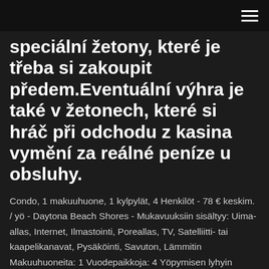speciální žetony, které je třeba si zakoupit předem.Eventuální výhra je také v žetonech, které si hráč při odchodu z kasina vymění za reálné peníze u obsluhy.
Condo, 1 makuuhuone, 1 kylpylät, 4 Henkilöt - 78 € keskim. / yö - Daytona Beach Shores - Mukavuuksiin sisältyy: Uima-allas, Internet, Ilmastointi, Poreallas, TV, Satelliitti- tai kaapelikanavat, Pysäköinti, Savuton, Lämmitin Makuuhuoneita: 1 Vuodepaikkoja: 4 Yöpymisen lyhyin sallittu kesto 2 yö(tä) Varattavissa suoraan verkosta - Varaa loma-asunto 7004451 Vrbon kautta. See good deals, great deals and more on Used Cars. Search from 1555000 Used...